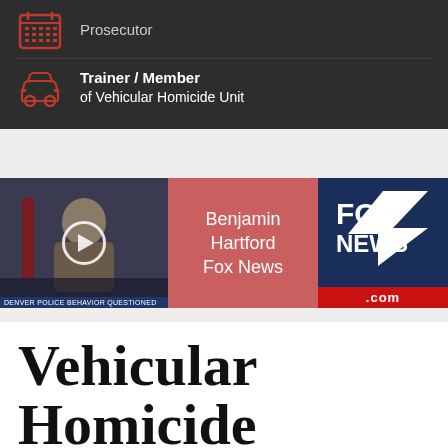[Figure (infographic): Dark banner with car icon and text: Trainer / Member of Vehicular Homicide Unit]
[Figure (screenshot): Fox News video thumbnail showing Benjamin Hartford on Fox News, with a news chyron and Fox News logo]
Vehicular Homicide Attorn...